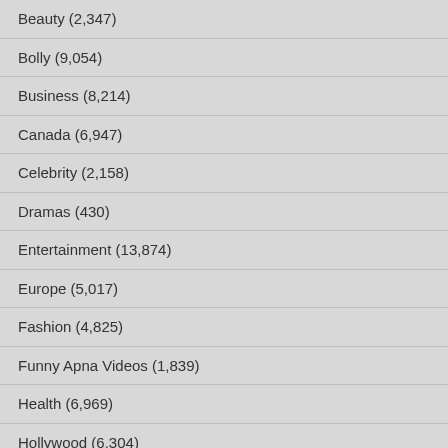Beauty (2,347)
Bolly (9,054)
Business (8,214)
Canada (6,947)
Celebrity (2,158)
Dramas (430)
Entertainment (13,874)
Europe (5,017)
Fashion (4,825)
Funny Apna Videos (1,839)
Health (6,969)
Hollywood (6,304)
India (7,075)
Lifestyle (6,727)
Lolly (13,193)
Middle East (6,220)
Movie Reviews (341)